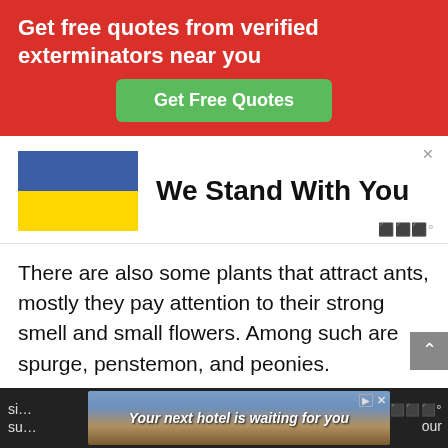Get free quotes from verified exterminators near you
Get Free Quotes
[Figure (screenshot): Ukraine flag (blue and yellow) with text 'We Stand With You' and a close X button. Moat logo watermark at bottom right.]
There are also some plants that attract ants, mostly they pay attention to their strong smell and small flowers. Among such are spurge, penstemon, and peonies.
[Figure (screenshot): Bottom advertisement bar showing 'Your next hotel is waiting for you' with a scenic background image of a hillside town.]